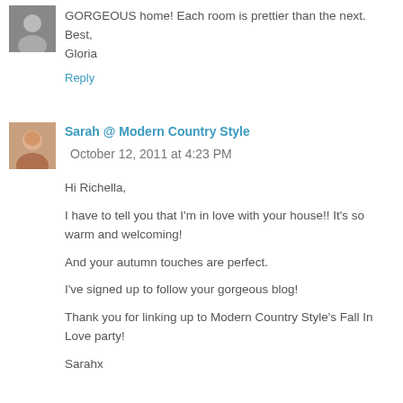GORGEOUS home! Each room is prettier than the next.
Best,
Gloria
Reply
Sarah @ Modern Country Style  October 12, 2011 at 4:23 PM
Hi Richella,

I have to tell you that I'm in love with your house!! It's so warm and welcoming!

And your autumn touches are perfect.

I've signed up to follow your gorgeous blog!

Thank you for linking up to Modern Country Style's Fall In Love party!

Sarahx